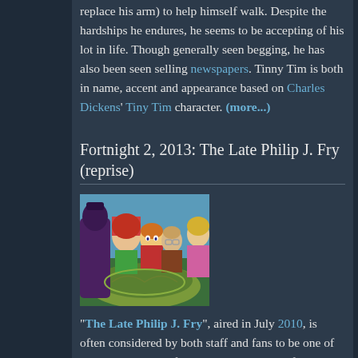replace his arm) to help himself walk. Despite the hardships he endures, he seems to be accepting of his lot in life. Though generally seen begging, he has also been seen selling newspapers. Tinny Tim is both in name, accent and appearance based on Charles Dickens' Tiny Tim character. (more...)
Fortnight 2, 2013: The Late Philip J. Fry (reprise)
[Figure (screenshot): Screenshot from Futurama episode 'The Late Philip J. Fry' showing animated characters including Fry and several women in colorful outfits]
"The Late Philip J. Fry", aired in July 2010, is often considered by both staff and fans to be one of the best episodes, if not the best episode, of both the series